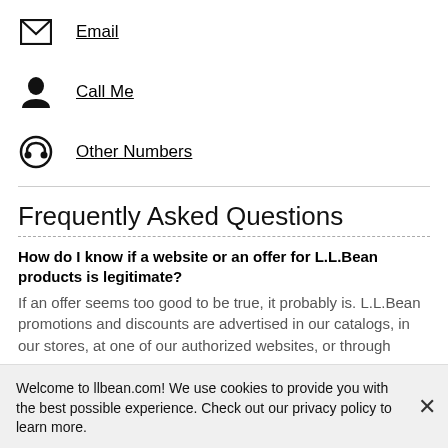Email
Call Me
Other Numbers
Frequently Asked Questions
How do I know if a website or an offer for L.L.Bean products is legitimate? If an offer seems too good to be true, it probably is. L.L.Bean promotions and discounts are advertised in our catalogs, in our stores, at one of our authorized websites, or through
Welcome to llbean.com! We use cookies to provide you with the best possible experience. Check out our privacy policy to learn more.